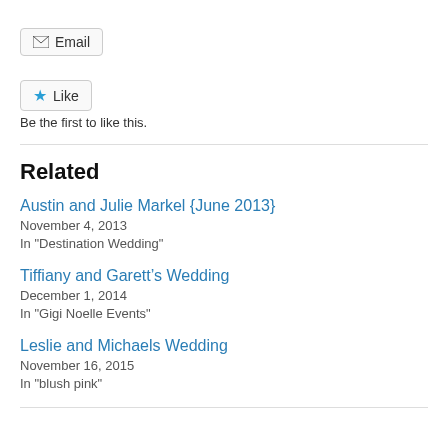Email
Like
Be the first to like this.
Related
Austin and Julie Markel {June 2013}
November 4, 2013
In "Destination Wedding"
Tiffiany and Garett’s Wedding
December 1, 2014
In "Gigi Noelle Events"
Leslie and Michaels Wedding
November 16, 2015
In "blush pink"